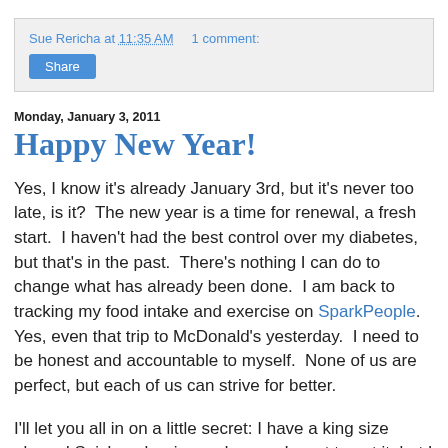Sue Rericha at 11:35 AM   1 comment:
Share
Monday, January 3, 2011
Happy New Year!
Yes, I know it's already January 3rd, but it's never too late, is it?  The new year is a time for renewal, a fresh start.  I haven't had the best control over my diabetes, but that's in the past.  There's nothing I can do to change what has already been done.  I am back to tracking my food intake and exercise on SparkPeople.  Yes, even that trip to McDonald's yesterday.  I need to be honest and accountable to myself.  None of us are perfect, but each of us can strive for better.
I'll let you all in on a little secret: I have a king size almond Snickers bar in my drawer.  I want to eat it, but I haven't because I don't want to enter it.  Silly piece of motivation, but